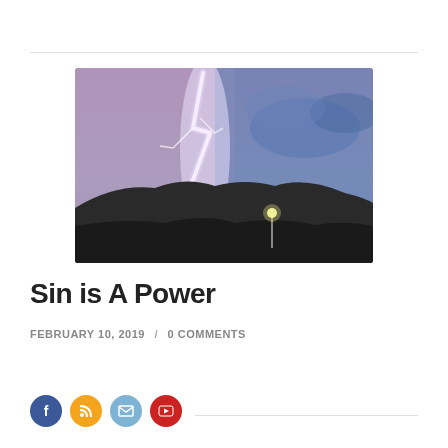[Figure (photo): Lightning strike over dark hills at dusk with a street light visible in the foreground. Purple and blue storm sky.]
Sin is A Power
FEBRUARY 10, 2019  /  0 COMMENTS
[Figure (infographic): Social media icons: Facebook (blue circle), RSS (orange circle), email (teal circle), YouTube (red circle)]